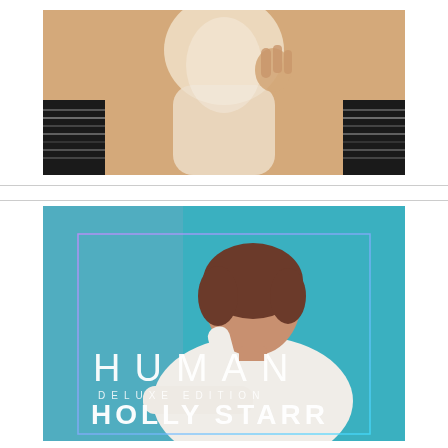[Figure (photo): Partial view of an album cover or artwork showing a figure in a white garment with warm beige/tan background and dark striped elements on the sides. The image is cropped, showing only the upper portion.]
[Figure (photo): Album cover for 'Human Deluxe Edition' by Holly Starr. Features a young woman with short brown hair wearing a white knit sweater, posed against a teal/blue background. A translucent square border frame overlays the image. Large white spaced-out text reads 'HUMAN' with 'DELUXE EDITION' below in smaller text, and 'HOLLY STARR' in large white letters at the bottom.]